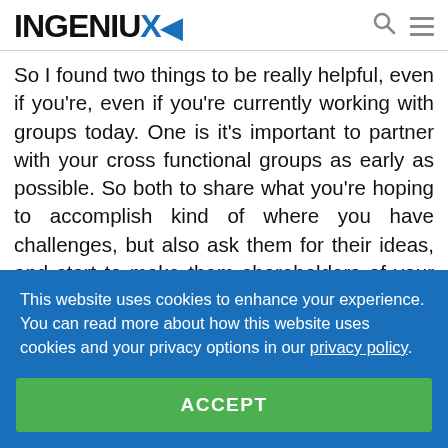INGENIUX
So I found two things to be really helpful, even if you're, even if you're currently working with groups today. One is it's important to partner with your cross functional groups as early as possible. So both to share what you're hoping to accomplish kind of where you have challenges, but also ask them for their ideas, and start to make them shareholders of your lnd initiative. So just make it as another type of campaign that maybe they would do for communications, instead of something that's kind of
This website uses cookies to enhance your experience. You can read more about how this website uses cookies and your privacy options in our privacy policy.
ACCEPT